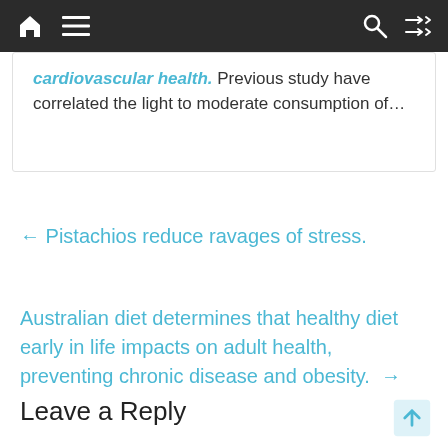Navigation bar with home, menu, search, and shuffle icons
cardiovascular health. Previous study have correlated the light to moderate consumption of…
← Pistachios reduce ravages of stress.
Australian diet determines that healthy diet early in life impacts on adult health, preventing chronic disease and obesity. →
Leave a Reply